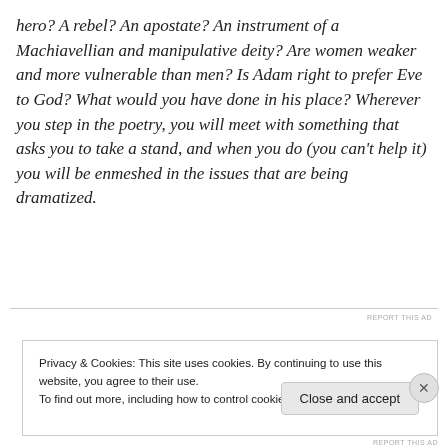hero? A rebel? An apostate? An instrument of a Machiavellian and manipulative deity? Are women weaker and more vulnerable than men? Is Adam right to prefer Eve to God? What would you have done in his place? Wherever you step in the poetry, you will meet with something that asks you to take a stand, and when you do (you can't help it) you will be enmeshed in the issues that are being dramatized.
Privacy & Cookies: This site uses cookies. By continuing to use this website, you agree to their use.
To find out more, including how to control cookies, see here: Cookie Policy